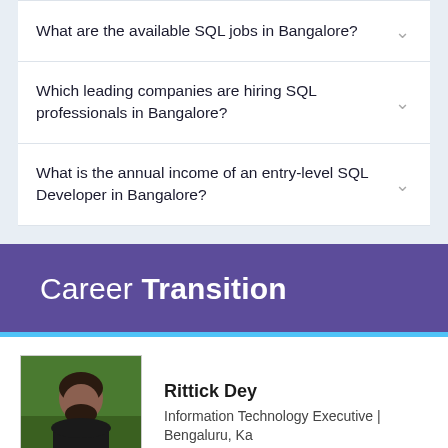What are the available SQL jobs in Bangalore?
Which leading companies are hiring SQL professionals in Bangalore?
What is the annual income of an entry-level SQL Developer in Bangalore?
Career Transition
Rittick Dey
Information Technology Executive | Bengaluru, Ka
Recruiter to Software Engg